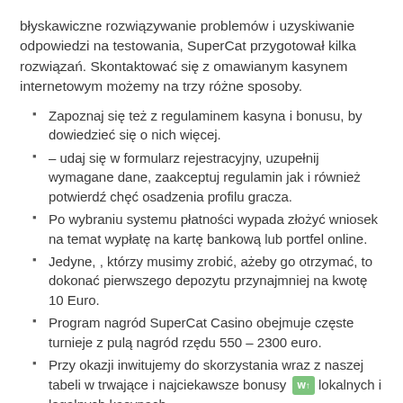błyskawiczne rozwiązywanie problemów i uzyskiwanie odpowiedzi na testowania, SuperCat przygotował kilka rozwiązań. Skontaktować się z omawianym kasynem internetowym możemy na trzy różne sposoby.
Zapoznaj się też z regulaminem kasyna i bonusu, by dowiedzieć się o nich więcej.
– udaj się w formularz rejestracyjny, uzupełnij wymagane dane, zaakceptuj regulamin jak i również potwierdź chęć osadzenia profilu gracza.
Po wybraniu systemu płatności wypada złożyć wniosek na temat wypłatę na kartę bankową lub portfel online.
Jedyne, , którzy musimy zrobić, ażeby go otrzymać, to dokonać pierwszego depozytu przynajmniej na kwotę 10 Euro.
Program nagród SuperCat Casino obejmuje częste turnieje z pulą nagród rzędu 550 – 2300 euro.
Przy okazji inwitujemy do skorzystania wraz z naszej tabeli w trwające i najciekawsze bonusy lokalnych i legalnych kasynach.